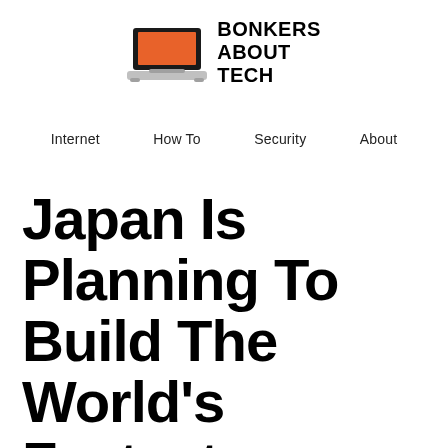[Figure (logo): Bonkers About Tech logo: a laptop icon with an orange screen and the text BONKERS ABOUT TECH in bold black uppercase letters to the right]
Internet   How To   Security   About
Japan Is Planning To Build The World's Fastest